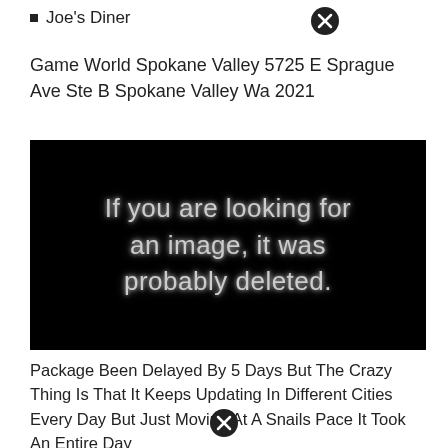Joe's Diner
Game World Spokane Valley 5725 E Sprague Ave Ste B Spokane Valley Wa 2021
[Figure (other): Black background image with white glowing text reading: If you are looking for an image, it was probably deleted.]
Package Been Delayed By 5 Days But The Crazy Thing Is That It Keeps Updating In Different Cities Every Day But Just Moving At A Snails Pace It Took An Entire Day